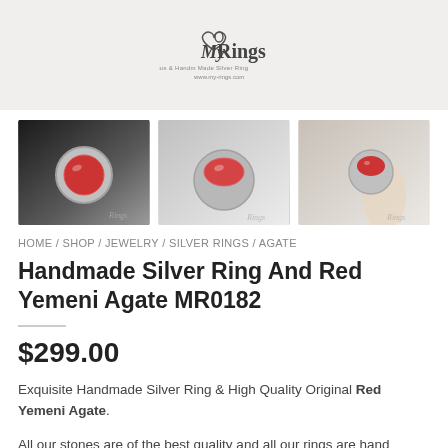[Figure (logo): My Rings logo with heart/rings icon, tagline and website url]
[Figure (photo): Three product thumbnail photos of a handmade silver ring with red Yemeni agate stone from different angles]
HOME / SHOP / JEWELRY / SILVER RINGS / AGATE
Handmade Silver Ring And Red Yemeni Agate MR0182
$299.00
Exquisite Handmade Silver Ring & High Quality Original Red Yemeni Agate.
All our stones are of the best quality and all our rings are hand